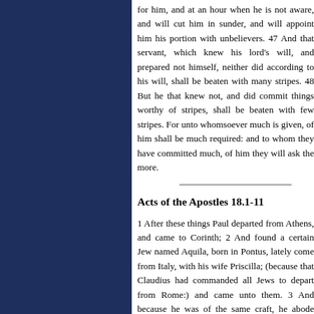for him, and at an hour when he is not aware, and will cut him in sunder, and will appoint him his portion with unbelievers. 47 And that servant, which knew his lord's will, and prepared not himself, neither did according to his will, shall be beaten with many stripes. 48 But he that knew not, and did commit things worthy of stripes, shall be beaten with few stripes. For unto whomsoever much is given, of him shall be much required: and to whom they have committed much, of him they will ask the more.
Acts of the Apostles 18.1-11
1 After these things Paul departed from Athens, and came to Corinth; 2 And found a certain Jew named Aquila, born in Pontus, lately come from Italy, with his wife Priscilla; (because that Claudius had commanded all Jews to depart from Rome:) and came unto them. 3 And because he was of the same craft, he abode with them, and wrought: for by their occupation they were tentmakers. 4 And he reasoned in the synagogue every sabbath, and persuaded the Jews and the Greeks.